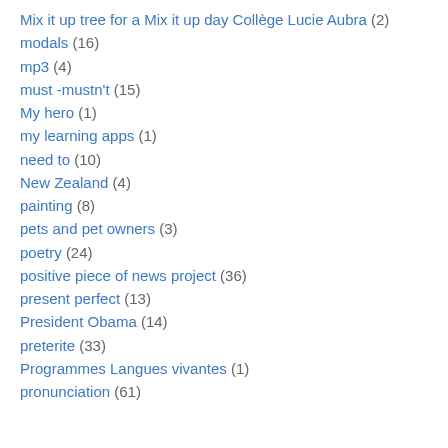Mix it up tree for a Mix it up day Collège Lucie Aubra (2)
modals (16)
mp3 (4)
must -mustn't (15)
My hero (1)
my learning apps (1)
need to (10)
New Zealand (4)
painting (8)
pets and pet owners (3)
poetry (24)
positive piece of news project (36)
present perfect (13)
President Obama (14)
preterite (33)
Programmes Langues vivantes (1)
pronunciation (61)